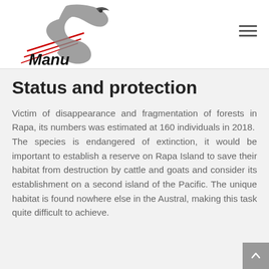Manu
Status and protection
Victim of disappearance and fragmentation of forests in Rapa, its numbers was estimated at 160 individuals in 2018.
The species is endangered of extinction, it would be important to establish a reserve on Rapa Island to save their habitat from destruction by cattle and goats and consider its establishment on a second island of the Pacific. The unique habitat is found nowhere else in the Austral, making this task quite difficult to achieve.